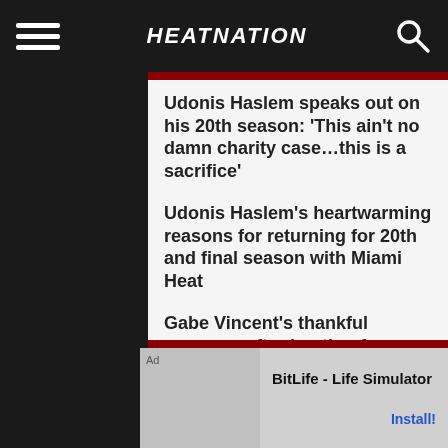HEATNATION
Udonis Haslem speaks out on his 20th season: ‘This ain’t no damn charity case…this is a sacrifice’
Udonis Haslem’s heartwarming reasons for returning for 20th and final season with Miami Heat
Gabe Vincent’s thankful message after hosting free basketball camp at his alma mater
You must be logged in to post a comment Login
[Figure (screenshot): Ad banner for BitLife - Life Simulator app with Install button]